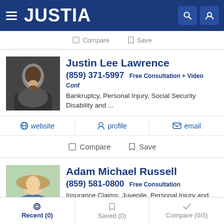JUSTIA
Compare  Save
Justin Lee Lawrence
(859) 371-5997 Free Consultation + Video Conf
Bankruptcy, Personal Injury, Social Security Disability and ...
website  profile  email
Compare  Save
Adam Michael Russell
(859) 581-0800 Free Consultation
Insurance Claims, Juvenile, Personal Injury and Products Li...
website  profile  email
Recent (0)  Saved (0)  Compare (0/3)